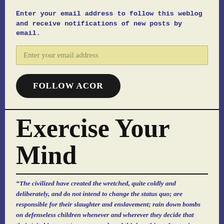Enter your email address to follow this weblog and receive notifications of new posts by email.
[Figure (other): Email address input field with placeholder text 'Enter your email address']
[Figure (other): Dark rounded button labeled 'FOLLOW ACOR']
Exercise Your Mind
"The civilized have created the wretched, quite coldly and deliberately, and do not intend to change the status quo; are responsible for their slaughter and enslavement; rain down bombs on defenseless children whenever and wherever they decide that their 'vital interests' are menaced, and think nothing of torturing a man to death: these people are not to be taken seriously when they speak of the 'sanctity' of human life, or the 'conscience' of the